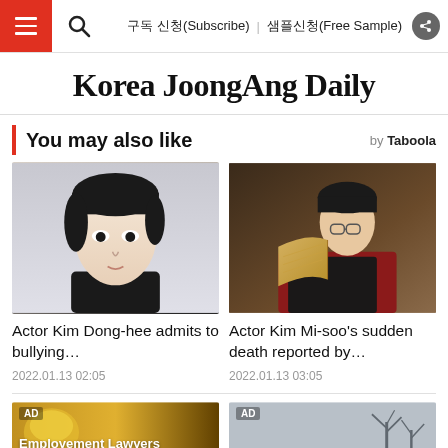구독 신청(Subscribe)   샘플신청(Free Sample)
Korea JoongAng Daily
You may also like
[Figure (photo): Portrait photo of young Asian male actor with dark hair, light skin, looking directly at camera]
[Figure (photo): Photo of young person with glasses reading a book, warm lighting, red scarf]
Actor Kim Dong-hee admits to bullying…
Actor Kim Mi-soo's sudden death reported by…
2022.01.13 02:05
2022.01.13 03:05
[Figure (photo): AD - Employement Lawyers advertisement with yellow/orange background]
[Figure (photo): AD - advertisement with winter outdoor background]